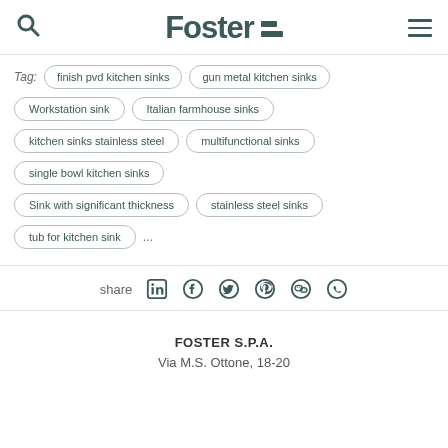Foster
finish pvd kitchen sinks
gun metal kitchen sinks
Workstation sink
Italian farmhouse sinks
kitchen sinks stainless steel
multifunctional sinks
single bowl kitchen sinks
Sink with significant thickness
stainless steel sinks
tub for kitchen sink
share
FOSTER S.P.A.
Via M.S. Ottone, 18-20